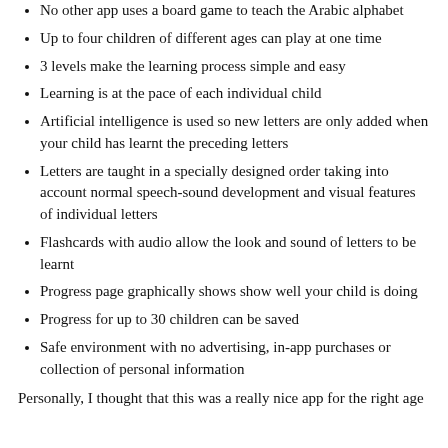No other app uses a board game to teach the Arabic alphabet
Up to four children of different ages can play at one time
3 levels make the learning process simple and easy
Learning is at the pace of each individual child
Artificial intelligence is used so new letters are only added when your child has learnt the preceding letters
Letters are taught in a specially designed order taking into account normal speech-sound development and visual features of individual letters
Flashcards with audio allow the look and sound of letters to be learnt
Progress page graphically shows show well your child is doing
Progress for up to 30 children can be saved
Safe environment with no advertising, in-app purchases or collection of personal information
Personally, I thought that this was a really nice app for the right age